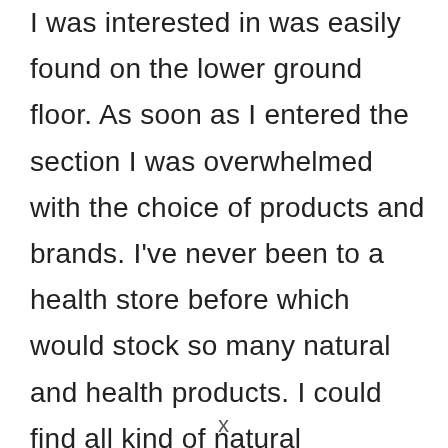I was interested in was easily found on the lower ground floor. As soon as I entered the section I was overwhelmed with the choice of products and brands. I've never been to a health store before which would stock so many natural and health products. I could find all kind of natural supplements and a wide variety of shampoos, conditioners, creams and cosmetics. However, looking at a make up section left me a bit disappointed. They didn't have a mineral foundation which I was after, which shows that online shopping may be still better for this kind of products.
x